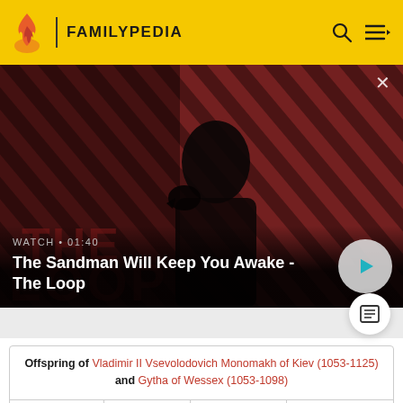FAMILYPEDIA
[Figure (screenshot): Video banner showing a dark figure with a raven on shoulder against a red diagonal striped background. Title: 'The Sandman Will Keep You Awake - The Loop', duration 01:40, with play button.]
WATCH • 01:40
The Sandman Will Keep You Awake - The Loop
| Name | Birth | Death | Joined |
| --- | --- | --- | --- |